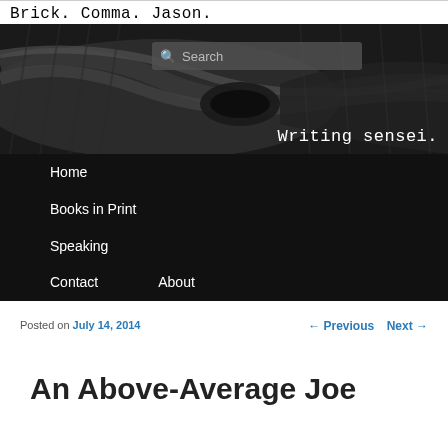Brick. Comma. Jason.
[Figure (photo): Black and white close-up photo of a martial arts black belt tied in a knot, with a search box overlay and 'Writing sensei.' text in monospace font at bottom right.]
Home
Books in Print
Speaking
Contact
About
Posted on July 14, 2014
← Previous   Next →
An Above-Average Joe